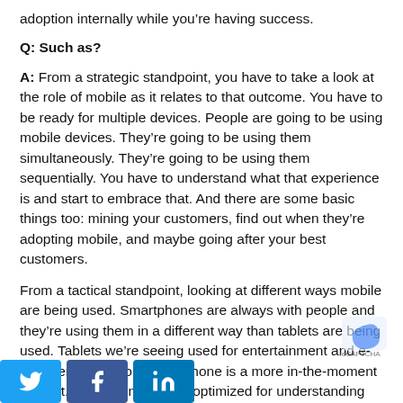adoption internally while you’re having success.
Q: Such as?
A: From a strategic standpoint, you have to take a look at the role of mobile as it relates to that outcome. You have to be ready for multiple devices. People are going to be using mobile devices. They’re going to be using them simultaneously. They’re going to be using them sequentially. You have to understand what that experience is and start to embrace that. And there are some basic things too: mining your customers, find out when they’re adopting mobile, and maybe going after your best customers.
From a tactical standpoint, looking at different ways mobile are being used. Smartphones are always with people and they’re using them in a different way than tablets are being used. Tablets we’re seeing used for entertainment and e-commerce. But your smartphone is a more in-the-moment contact. Campaigns can be optimized for understanding how customers are using mobile.